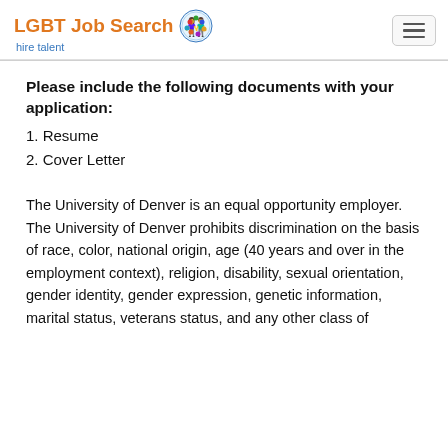LGBT Job Search hire talent
Please include the following documents with your application:
1. Resume
2. Cover Letter
The University of Denver is an equal opportunity employer. The University of Denver prohibits discrimination on the basis of race, color, national origin, age (40 years and over in the employment context), religion, disability, sexual orientation, gender identity, gender expression, genetic information, marital status, veterans status, and any other class of